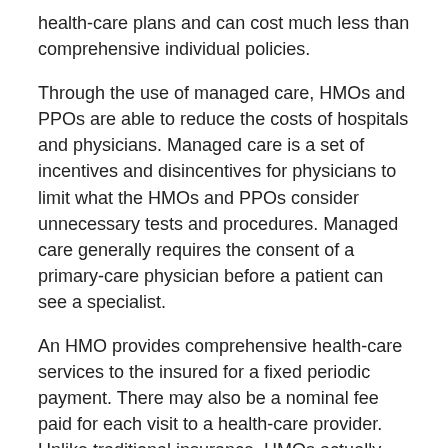health-care plans and can cost much less than comprehensive individual policies.
Through the use of managed care, HMOs and PPOs are able to reduce the costs of hospitals and physicians. Managed care is a set of incentives and disincentives for physicians to limit what the HMOs and PPOs consider unnecessary tests and procedures. Managed care generally requires the consent of a primary-care physician before a patient can see a specialist.
An HMO provides comprehensive health-care services to the insured for a fixed periodic payment. There may also be a nominal fee paid for each visit to a health-care provider. Unlike traditional insurance, HMOs actually provide the health care rather than just making payments to health-care providers. HMOs can have a variety of relationships with hospitals and physicians. Plan physicians may be salaried employees, members of an independent